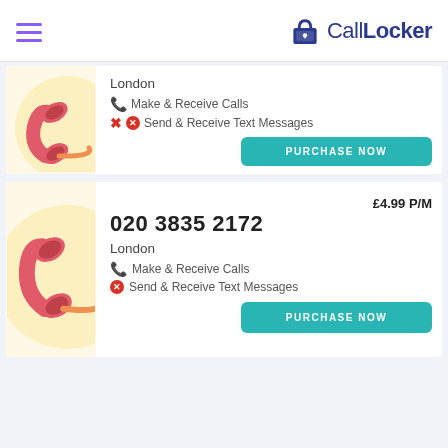[Figure (logo): CallLocker logo with locker icon and purple hamburger menu icon]
[Figure (illustration): Partial phone card with London listing, make & receive calls, send & receive text messages, purchase now button]
London
Make & Receive Calls
Send & Receive Text Messages
PURCHASE NOW
[Figure (illustration): Phone card for 020 3835 2172, London, £4.99 P/M]
020 3835 2172
£4.99 P/M
London
Make & Receive Calls
Send & Receive Text Messages
PURCHASE NOW